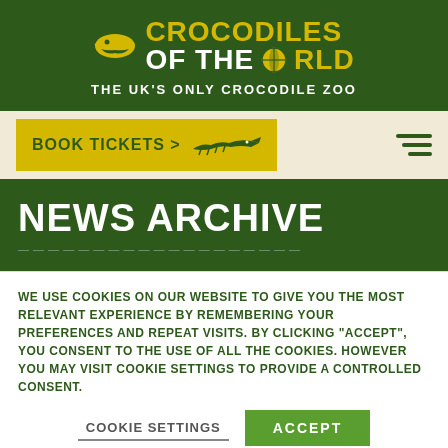[Figure (logo): Crocodiles of the World logo with crocodile icon and globe icon, text reading CROCODILES OF THE WORLD]
THE UK'S ONLY CROCODILE ZOO
[Figure (other): Book Tickets button with crocodile illustration and hamburger menu icon]
NEWS ARCHIVE
WE USE COOKIES ON OUR WEBSITE TO GIVE YOU THE MOST RELEVANT EXPERIENCE BY REMEMBERING YOUR PREFERENCES AND REPEAT VISITS. BY CLICKING "ACCEPT", YOU CONSENT TO THE USE OF ALL THE COOKIES. HOWEVER YOU MAY VISIT COOKIE SETTINGS TO PROVIDE A CONTROLLED CONSENT.
COOKIE SETTINGS
ACCEPT